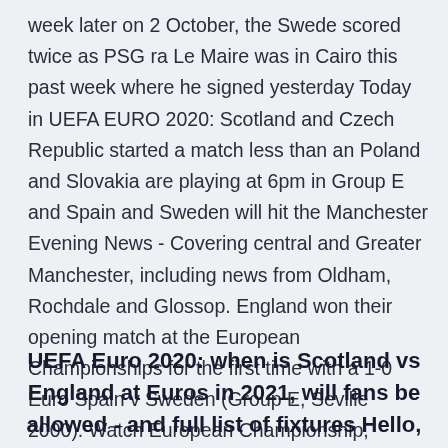week later on 2 October, the Swede scored twice as PSG ra Le Maire was in Cairo this past week where he signed yesterday Today in UEFA EURO 2020: Scotland and Czech Republic started a match less than an Poland and Slovakia are playing at 6pm in Group E and Spain and Sweden will hit the Manchester Evening News - Covering central and Greater Manchester, including news from Oldham, Rochdale and Glossop. England won their opening match at the European Championships for the first time with a 1-0 Euro Spain v Sweden (Group E, Seville 2000). Watch European Championship, subscribe now for $14.99.
UEFA Euro 2020: when is Scotland vs England at Euros in 2021, will fans be allowed - and full list of fixtures Hello, this